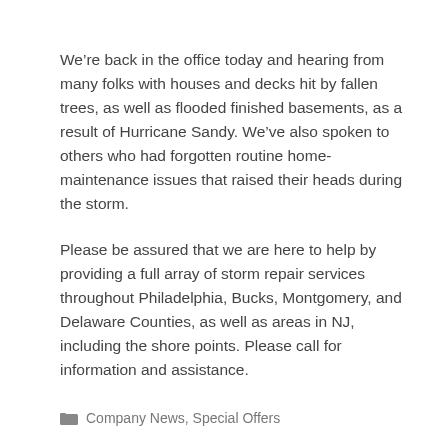We’re back in the office today and hearing from many folks with houses and decks hit by fallen trees, as well as flooded finished basements, as a result of Hurricane Sandy. We’ve also spoken to others who had forgotten routine home-maintenance issues that raised their heads during the storm.
Please be assured that we are here to help by providing a full array of storm repair services throughout Philadelphia, Bucks, Montgomery, and Delaware Counties, as well as areas in NJ, including the shore points. Please call for information and assistance.
Company News, Special Offers